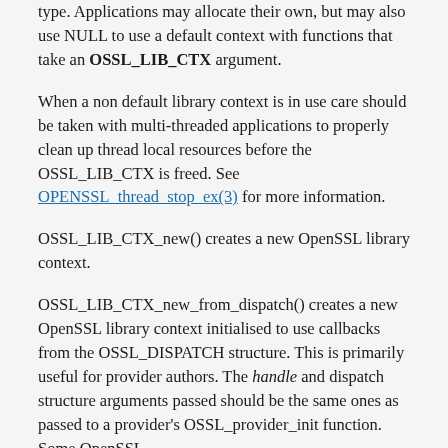type. Applications may allocate their own, but may also use NULL to use a default context with functions that take an OSSL_LIB_CTX argument.
When a non default library context is in use care should be taken with multi-threaded applications to properly clean up thread local resources before the OSSL_LIB_CTX is freed. See OPENSSL_thread_stop_ex(3) for more information.
OSSL_LIB_CTX_new() creates a new OpenSSL library context.
OSSL_LIB_CTX_new_from_dispatch() creates a new OpenSSL library context initialised to use callbacks from the OSSL_DISPATCH structure. This is primarily useful for provider authors. The handle and dispatch structure arguments passed should be the same ones as passed to a provider's OSSL_provider_init function. Some OpenSSL